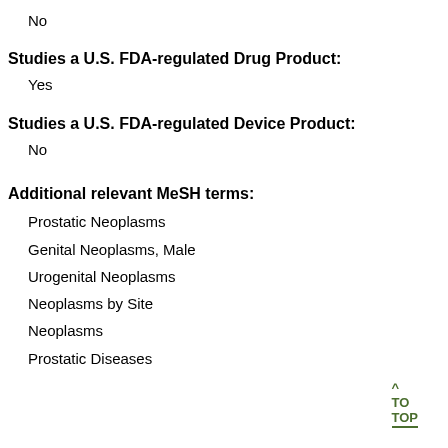No
Studies a U.S. FDA-regulated Drug Product:
Yes
Studies a U.S. FDA-regulated Device Product:
No
Additional relevant MeSH terms:
Prostatic Neoplasms
Genital Neoplasms, Male
Urogenital Neoplasms
Neoplasms by Site
Neoplasms
Prostatic Diseases
^ TO TOP